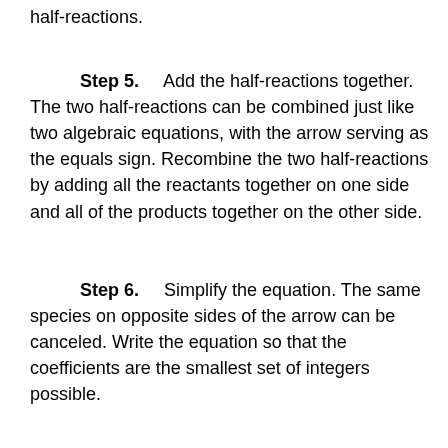half-reactions.
Step 5. Add the half-reactions together. The two half-reactions can be combined just like two algebraic equations, with the arrow serving as the equals sign. Recombine the two half-reactions by adding all the reactants together on one side and all of the products together on the other side.
Step 6. Simplify the equation. The same species on opposite sides of the arrow can be canceled. Write the equation so that the coefficients are the smallest set of integers possible.
Finally , always check to see that the equation